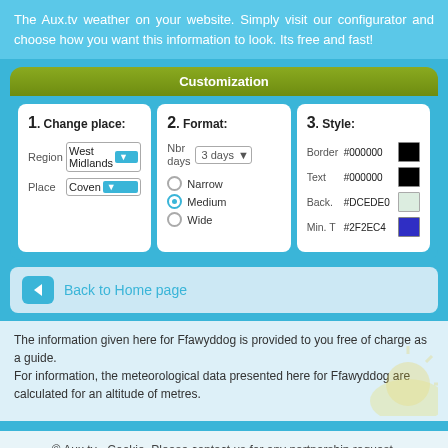The Aux.tv weather on your website. Simply visit our configurator and choose how you want this information to look. Its free and fast!
[Figure (screenshot): Customization panel with three cards: 1. Change place (Region: West Midlands, Place: Coven), 2. Format (Nbr days: 3 days, radio buttons: Narrow, Medium selected, Wide), 3. Style (Border #000000, Text #000000, Back. #DCEDE0, Min. T #2F2EC4)]
Back to Home page
The information given here for Ffawyddog is provided to you free of charge as a guide.
For information, the meteorological data presented here for Ffawyddog are calculated for an altitude of metres.
© Aux.tv - Cookie. Please contact us for any partnership request.